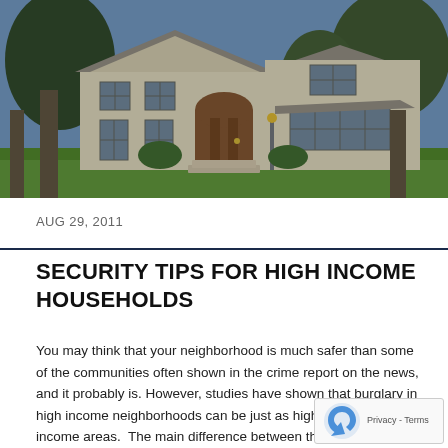[Figure (photo): Photograph of a large two-story suburban house with stucco exterior, arched wooden front door, multiple windows, lawn trees in foreground, green grass yard]
AUG 29, 2011
SECURITY TIPS FOR HIGH INCOME HOUSEHOLDS
You may think that your neighborhood is much safer than some of the communities often shown in the crime report on the news, and it probably is. However, studies have shown that burglary in high income neighborhoods can be just as high as those lower income areas.  The main difference between the [...]